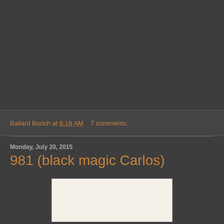Ballard Borich at 6:18 AM   7 comments:
Monday, July 20, 2015
981 (black magic Carlos)
[Figure (photo): Partial view of what appears to be a document or photograph with a light cream/off-white background, partially visible at the bottom of the page]